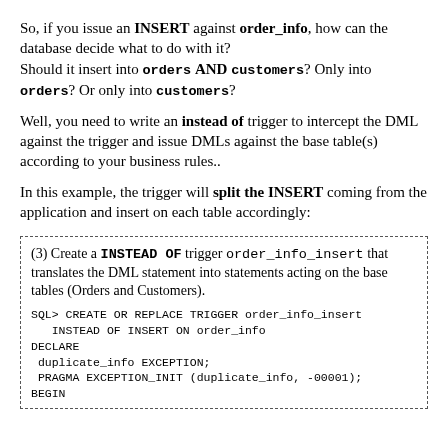So, if you issue an INSERT against order_info, how can the database decide what to do with it? Should it insert into orders AND customers? Only into orders? Or only into customers?
Well, you need to write an instead of trigger to intercept the DML against the trigger and issue DMLs against the base table(s) according to your business rules..
In this example, the trigger will split the INSERT coming from the application and insert on each table accordingly:
(3) Create a INSTEAD OF trigger order_info_insert that translates the DML statement into statements acting on the base tables (Orders and Customers).

SQL> CREATE OR REPLACE TRIGGER order_info_insert
   INSTEAD OF INSERT ON order_info
DECLARE
 duplicate_info EXCEPTION;
 PRAGMA EXCEPTION_INIT (duplicate_info, -00001);
BEGIN